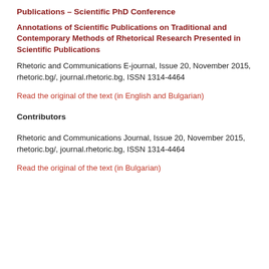Publications – Scientific PhD Conference
Annotations of Scientific Publications on Traditional and Contemporary Methods of Rhetorical Research Presented in Scientific Publications
Rhetoric and Communications E-journal, Issue 20, November 2015, rhetoric.bg/, journal.rhetoric.bg, ISSN 1314-4464
Read the original of the text (in English and Bulgarian)
Contributors
Rhetoric and Communications Journal, Issue 20, November 2015, rhetoric.bg/, journal.rhetoric.bg, ISSN 1314-4464
Read the original of the text (in Bulgarian)